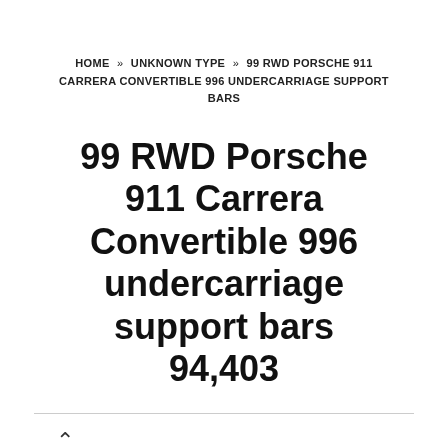HOME » UNKNOWN TYPE » 99 RWD PORSCHE 911 CARRERA CONVERTIBLE 996 UNDERCARRIAGE SUPPORT BARS
99 RWD Porsche 911 Carrera Convertible 996 undercarriage support bars 94,403
^